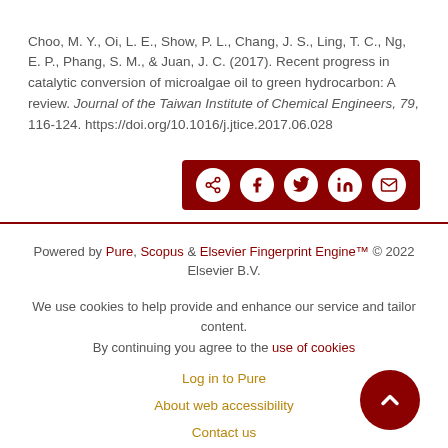Choo, M. Y., Oi, L. E., Show, P. L., Chang, J. S., Ling, T. C., Ng, E. P., Phang, S. M., & Juan, J. C. (2017). Recent progress in catalytic conversion of microalgae oil to green hydrocarbon: A review. Journal of the Taiwan Institute of Chemical Engineers, 79, 116-124. https://doi.org/10.1016/j.jtice.2017.06.028
[Figure (other): Social share buttons bar with share, Facebook, Twitter, LinkedIn, and email icons on dark red background]
Powered by Pure, Scopus & Elsevier Fingerprint Engine™ © 2022 Elsevier B.V.

We use cookies to help provide and enhance our service and tailor content. By continuing you agree to the use of cookies

Log in to Pure

About web accessibility

Contact us